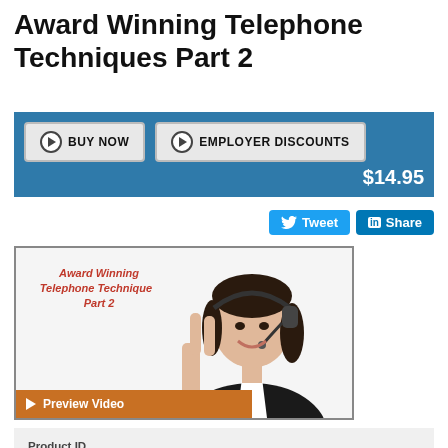Award Winning Telephone Techniques Part 2
[Figure (screenshot): Blue bar with Buy Now and Employer Discounts buttons, price $14.95]
[Figure (screenshot): Social share buttons: Tweet and Share]
[Figure (photo): Video thumbnail showing a woman wearing a headset making a peace sign, with text 'Award Winning Telephone Techniques Part 2' and a Preview Video button]
Product ID